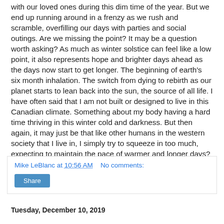with our loved ones during this dim time of the year. But we end up running around in a frenzy as we rush and scramble, overfilling our days with parties and social outings. Are we missing the point? It may be a question worth asking? As much as winter solstice can feel like a low point, it also represents hope and brighter days ahead as the days now start to get longer. The beginning of earth's six month inhalation. The switch from dying to rebirth as our planet starts to lean back into the sun, the source of all life. I have often said that I am not built or designed to live in this Canadian climate. Something about my body having a hard time thriving in this winter cold and darkness. But then again, it may just be that like other humans in the western society that I live in, I simply try to squeeze in too much, expecting to maintain the pace of warmer and longer days? Nature has its own rhythm. And the only way to thrive in it is to adopt the same frequency and amplitude. Winter solstice.
Mike LeBlanc at 10:56 AM   No comments:
Share
Tuesday, December 10, 2019